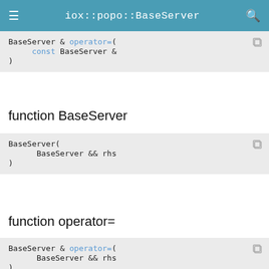iox::popo::BaseServer
BaseServer & operator=(
    const BaseServer &
)
function BaseServer
BaseServer(
    BaseServer && rhs
)
function operator=
BaseServer & operator=(
    BaseServer && rhs
)